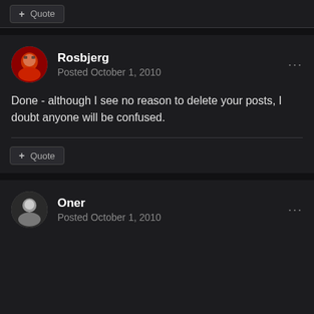+ Quote
Rosbjerg
Posted October 1, 2010
Done - although I see no reason to delete your posts, I doubt anyone will be confused.
+ Quote
Oner
Posted October 1, 2010